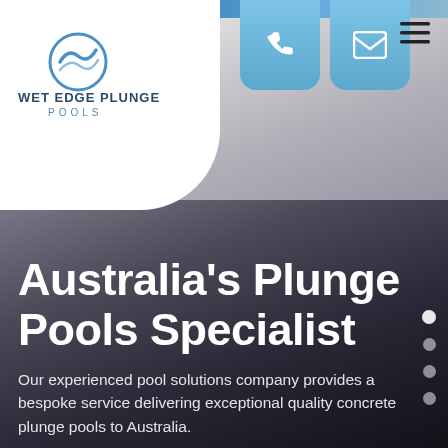[Figure (screenshot): Website screenshot of Wet Edge Plunge Pools homepage showing logo, navigation buttons, and hero section]
Australia's Plunge Pools Specialist
Our experienced pool solutions company provides a bespoke service delivering exceptional quality concrete plunge pools to Australia.